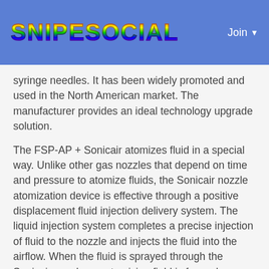SNIPESOCIAL   Join
syringe needles. It has been widely promoted and used in the North American market. The manufacturer provides an ideal technology upgrade solution.
The FSP-AP + Sonicair atomizes fluid in a special way. Unlike other gas nozzles that depend on time and pressure to atomize fluids, the Sonicair nozzle atomization device is effective through a positive displacement fluid injection delivery system. The liquid injection system completes a precise injection of fluid to the nozzle and injects the fluid into the airflow. When the fluid is sprayed through the Sonicair nozzle, an atomizing field is formed.